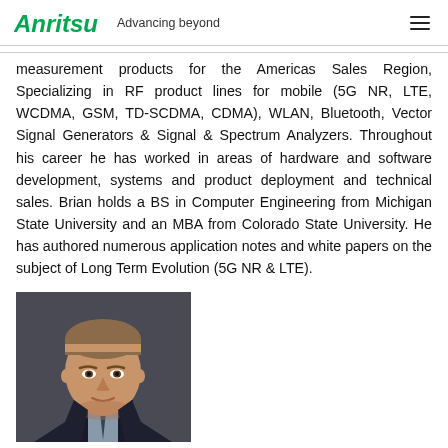Anritsu Advancing beyond
measurement products for the Americas Sales Region, Specializing in RF product lines for mobile (5G NR, LTE, WCDMA, GSM, TD-SCDMA, CDMA), WLAN, Bluetooth, Vector Signal Generators & Signal & Spectrum Analyzers. Throughout his career he has worked in areas of hardware and software development, systems and product deployment and technical sales. Brian holds a BS in Computer Engineering from Michigan State University and an MBA from Colorado State University. He has authored numerous application notes and white papers on the subject of Long Term Evolution (5G NR & LTE).
[Figure (photo): Headshot of a man in a dark suit against a dark background]